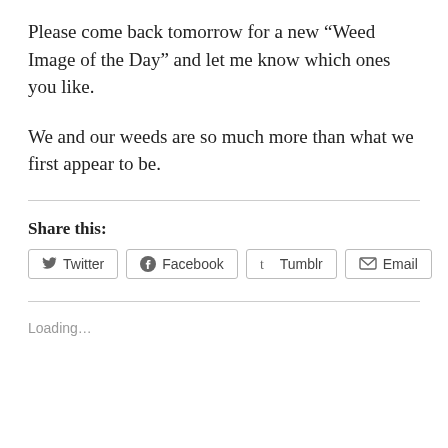Please come back tomorrow for a new “Weed Image of the Day” and let me know which ones you like.
We and our weeds are so much more than what we first appear to be.
Share this:
Loading...